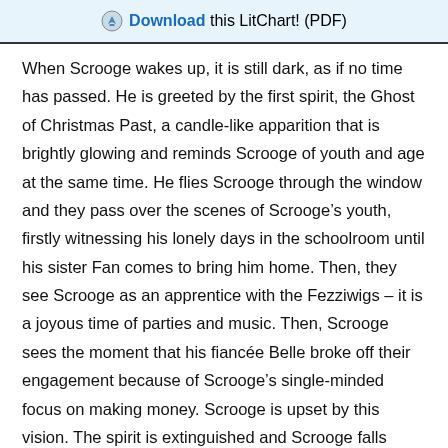Download this LitChart! (PDF)
When Scrooge wakes up, it is still dark, as if no time has passed. He is greeted by the first spirit, the Ghost of Christmas Past, a candle-like apparition that is brightly glowing and reminds Scrooge of youth and age at the same time. He flies Scrooge through the window and they pass over the scenes of Scrooge’s youth, firstly witnessing his lonely days in the schoolroom until his sister Fan comes to bring him home. Then, they see Scrooge as an apprentice with the Fezziwigs – it is a joyous time of parties and music. Then, Scrooge sees the moment that his fiancée Belle broke off their engagement because of Scrooge’s single-minded focus on making money. Scrooge is upset by this vision. The spirit is extinguished and Scrooge falls asleep.